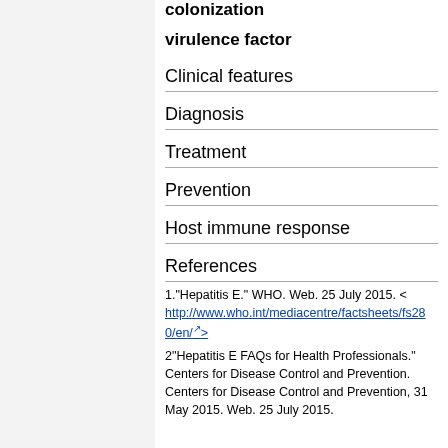colonization
virulence factor
Clinical features
Diagnosis
Treatment
Prevention
Host immune response
References
1."Hepatitis E." WHO. Web. 25 July 2015. < http://www.who.int/mediacentre/factsheets/fs280/en/>
2"Hepatitis E FAQs for Health Professionals." Centers for Disease Control and Prevention. Centers for Disease Control and Prevention, 31 May 2015. Web. 25 July 2015.